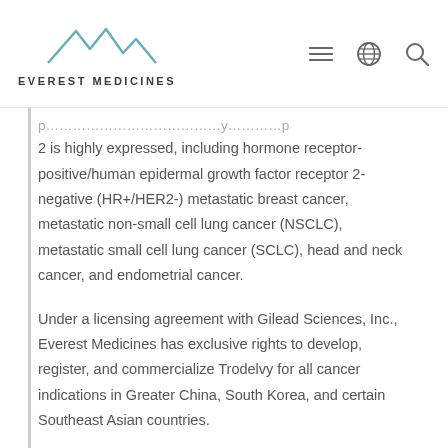EVEREST MEDICINES
2 is highly expressed, including hormone receptor-positive/human epidermal growth factor receptor 2-negative (HR+/HER2-) metastatic breast cancer, metastatic non-small cell lung cancer (NSCLC), metastatic small cell lung cancer (SCLC), head and neck cancer, and endometrial cancer.
Under a licensing agreement with Gilead Sciences, Inc., Everest Medicines has exclusive rights to develop, register, and commercialize Trodelvy for all cancer indications in Greater China, South Korea, and certain Southeast Asian countries.
*The TRODELVY trademark is used under license from